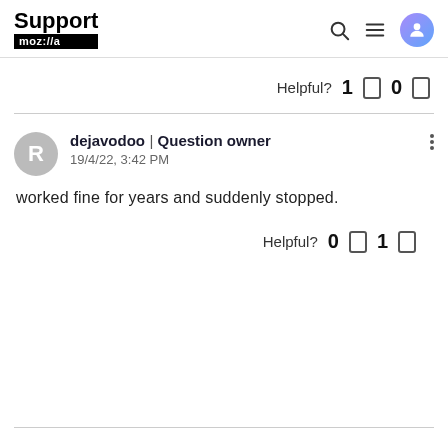Support mozilla
Helpful? 1 0
dejavodoo | Question owner
19/4/22, 3:42 PM
worked fine for years and suddenly stopped.
Helpful? 0 1